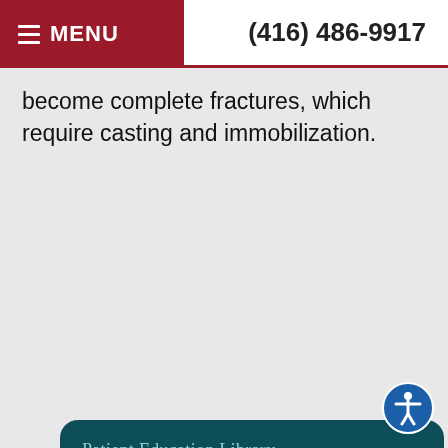≡ MENU   (416) 486-9917
become complete fractures, which require casting and immobilization.
Patient Education Library
What is a Podiatrist
Painless Injections
When To Call a Podiatrist
Foot Anatomy
Overview of Feet and Ankle Problems
Basic Foot Care Guidelines